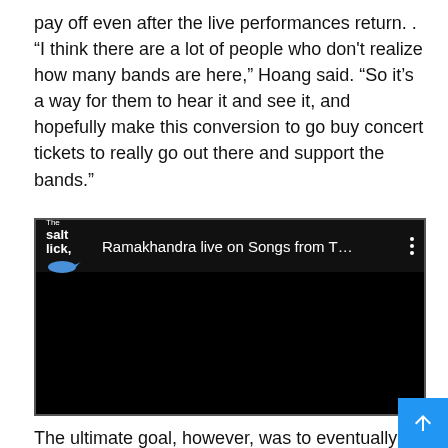pay off even after the live performances return. . “I think there are a lot of people who don't realize how many bands are here,” Hoang said. “So it’s a way for them to hear it and see it, and hopefully make this conversion to go buy concert tickets to really go out there and support the bands.”
[Figure (screenshot): Embedded YouTube-style video player showing 'Ramakhandra live on Songs from T...' with The Salt Lick channel logo on black background]
The ultimate goal, however, was to eventually launch an independent label to help bring this music to the attention o...